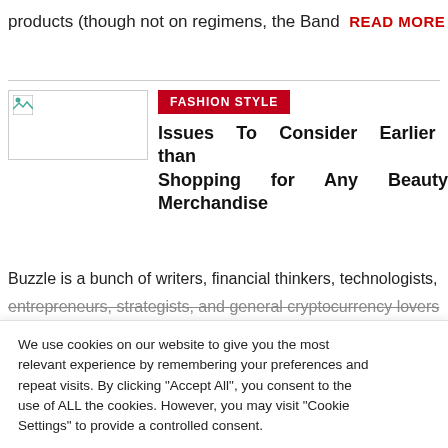products (though not on regimens, the Band  READ MORE »
[Figure (photo): Broken image thumbnail placeholder]
FASHION STYLE
Issues To Consider Earlier than Shopping for Any Beauty Merchandise
Buzzle is a bunch of writers, financial thinkers, technologists,
entrepreneurs, strategists, and general cryptocurrency lovers
We use cookies on our website to give you the most relevant experience by remembering your preferences and repeat visits. By clicking "Accept All", you consent to the use of ALL the cookies. However, you may visit "Cookie Settings" to provide a controlled consent.